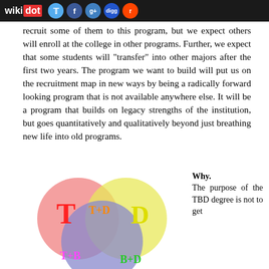wikidot [social icons: twitter, facebook, google+, digg, reddit]
recruit some of them to this program, but we expect others will enroll at the college in other programs. Further, we expect that some students will "transfer" into other majors after the first two years. The program we want to build will put us on the recruitment map in new ways by being a radically forward looking program that is not available anywhere else. It will be a program that builds on legacy strengths of the institution, but goes quantitatively and qualitatively beyond just breathing new life into old programs.
[Figure (illustration): Venn diagram with three overlapping circles labeled T (red, left), D (yellow, right), and B (blue, bottom). Overlap regions labeled T+D (orange, top center), T+B (magenta, bottom left), B+D (green, bottom right), with center unlabeled purple overlap of all three.]
Why. The purpose of the TBD degree is not to get